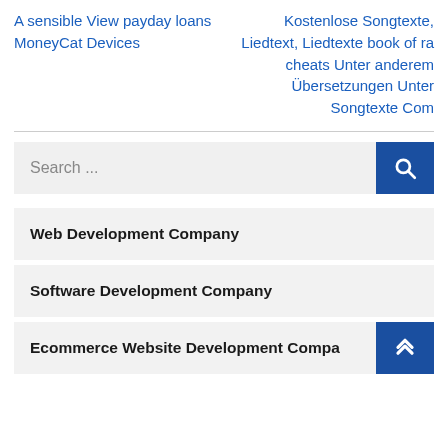A sensible View payday loans MoneyCat Devices
Kostenlose Songtexte, Liedtext, Liedtexte book of ra cheats Unter anderem Übersetzungen Unter Songtexte Com
Search ...
Web Development Company
Software Development Company
Ecommerce Website Development Compa…